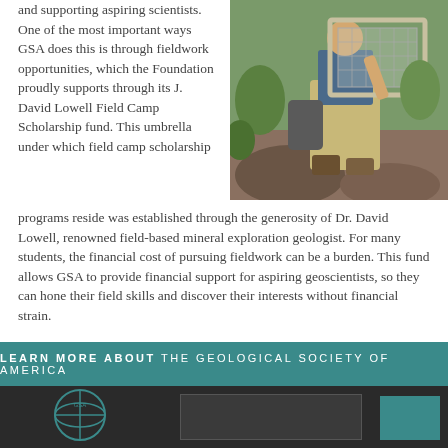and supporting aspiring scientists. One of the most important ways GSA does this is through fieldwork opportunities, which the Foundation proudly supports through its J. David Lowell Field Camp Scholarship fund. This umbrella under which field camp scholarship programs reside was established through the generosity of Dr. David Lowell, renowned field-based mineral exploration geologist. For many students, the financial cost of pursuing fieldwork can be a burden. This fund allows GSA to provide financial support for aspiring geoscientists, so they can hone their field skills and discover their interests without financial strain.
[Figure (photo): A person sitting on rocky terrain outdoors, holding a screen or net frame, with green vegetation in the background.]
LEARN MORE ABOUT THE GEOLOGICAL SOCIETY OF AMERICA